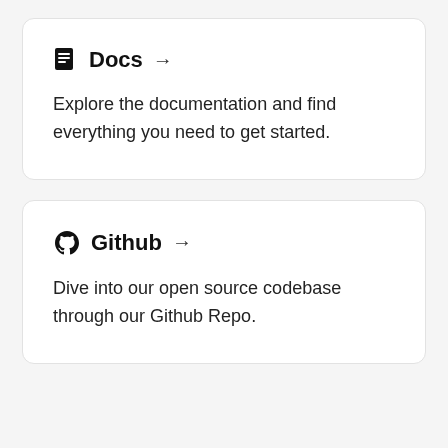📄 Docs →
Explore the documentation and find everything you need to get started.
Github →
Dive into our open source codebase through our Github Repo.